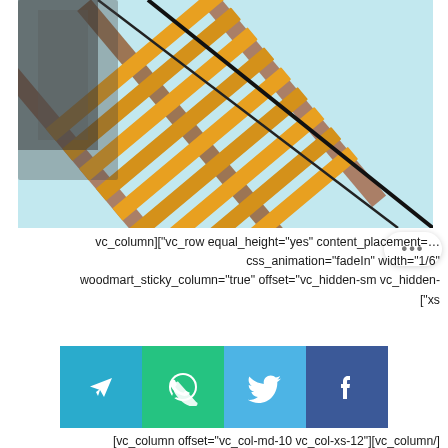[Figure (photo): Photo of a construction scaffold with orange wooden planks/boards going diagonally upward, against a light blue/cyan background. A black diagonal beam/rope runs across the image.]
vc_column]["vc_row equal_height="yes" content_placement=…
css_animation="fadeIn" width="1/6"
woodmart_sticky_column="true" offset="vc_hidden-sm vc_hidden-
["xs
[Figure (infographic): Four social media share buttons in a row: Telegram (blue), WhatsApp (green), Twitter (light blue), Facebook (dark blue). Each is a square with a white icon.]
[vc_column offset="vc_col-md-10 vc_col-xs-12"][vc_column/]
woodmart_text_block woodmart_css_id="617a85bb03b2f"]
woodmart_inline="no"
IGV4dF9ibG9jayIsImRhdGEiOnsidGFibGV0Ijp7fSwibW9iaWxlIjp7fX19
parallax_scroll="no" wd_hide_on_desktop="no"